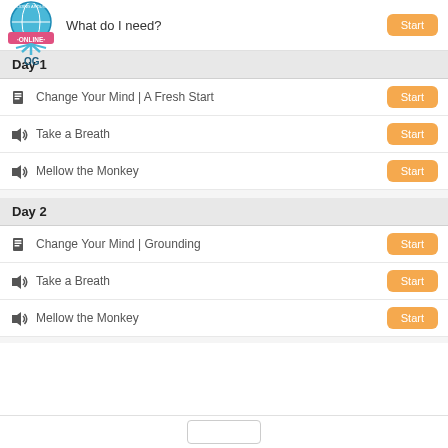[Figure (logo): Kidding Around Yoga Online logo with globe and sun/rays]
What do I need?
Day 1
Change Your Mind | A Fresh Start — Start
Take a Breath — Start
Mellow the Monkey — Start
Day 2
Change Your Mind | Grounding — Start
Take a Breath — Start
Mellow the Monkey — Start